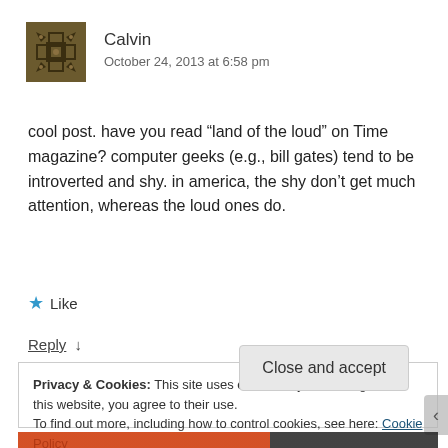Calvin
October 24, 2013 at 6:58 pm
cool post. have you read “land of the loud” on Time magazine? computer geeks (e.g., bill gates) tend to be introverted and shy. in america, the shy don’t get much attention, whereas the loud ones do.
★ Like
Reply ↓
Privacy & Cookies: This site uses cookies. By continuing to use this website, you agree to their use.
To find out more, including how to control cookies, see here: Cookie Policy
Close and accept